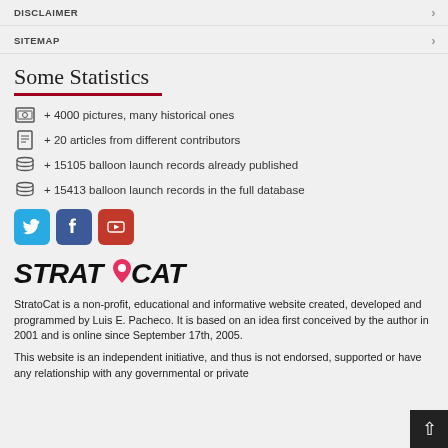DISCLAIMER
SITEMAP
Some Statistics
+ 4000 pictures, many historical ones
+ 20 articles from different contributors
+ 15105 balloon launch records already published
+ 15413 balloon launch records in the full database
[Figure (logo): Social media icons: Twitter, Facebook, YouTube]
[Figure (logo): StratoCat logo with pink location pin replacing letter O]
StratoCat is a non-profit, educational and informative website created, developed and programmed by Luis E. Pacheco. It is based on an idea first conceived by the author in 2001 and is online since September 17th, 2005.
This website is an independent initiative, and thus is not endorsed, supported or have any relationship with any governmental or private